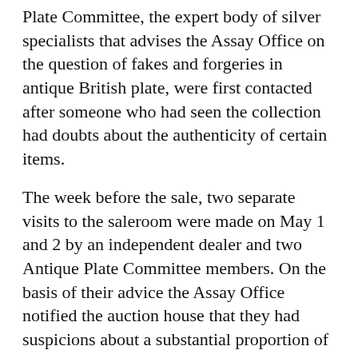Plate Committee, the expert body of silver specialists that advises the Assay Office on the question of fakes and forgeries in antique British plate, were first contacted after someone who had seen the collection had doubts about the authenticity of certain items.
The week before the sale, two separate visits to the saleroom were made on May 1 and 2 by an independent dealer and two Antique Plate Committee members. On the basis of their advice the Assay Office notified the auction house that they had suspicions about a substantial proportion of the pieces.
According to the Assay Office, “there were several different reasons why the articles were believed to be suspect, namely that some had very suspicious fake English marks, Chinese marks, some had keels that appeared to be adapted from hallmarked dessert knives, and others appeared to have other types of illegal adaptations”.